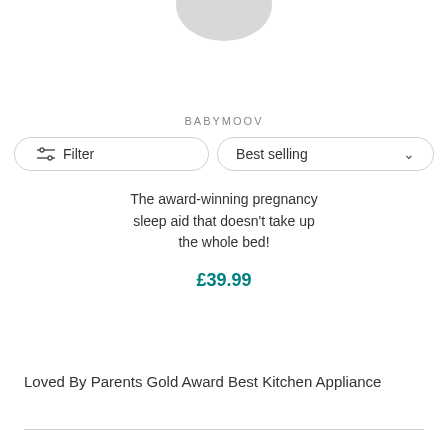[Figure (photo): Partial product image at top of page, cropped, showing a grey/silver item]
BABYMOOV
Filter
Best selling
The award-winning pregnancy sleep aid that doesn't take up the whole bed!
£39.99
Loved By Parents Gold Award Best Kitchen Appliance